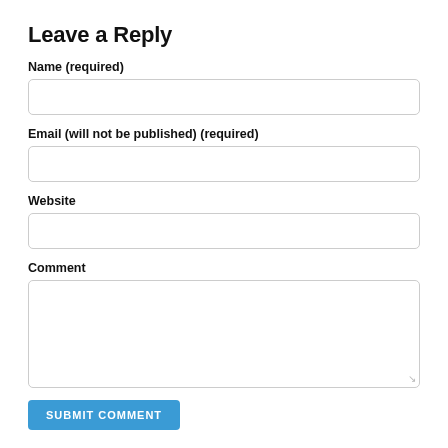Leave a Reply
Name (required)
[Figure (other): Empty text input field for Name]
Email (will not be published) (required)
[Figure (other): Empty text input field for Email]
Website
[Figure (other): Empty text input field for Website]
Comment
[Figure (other): Empty textarea for Comment]
SUBMIT COMMENT